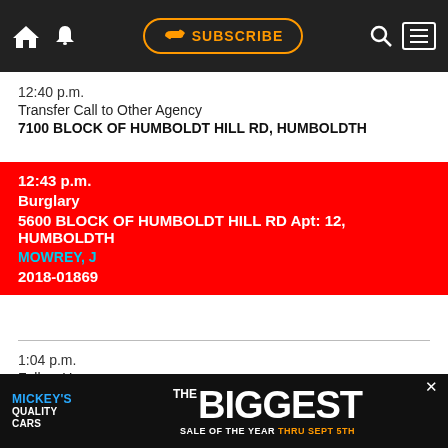SUBSCRIBE navigation bar
12:40 p.m.
Transfer Call to Other Agency
7100 BLOCK OF HUMBOLDT HILL RD, HUMBOLDTH
12:43 p.m.
Burglary
5600 BLOCK OF HUMBOLDT HILL RD Apt: 12, HUMBOLDTH
MOWREY, J
2018-01869
1:04 p.m.
Follow Up
1900 BLOCK OF WAVE CREST AVE, MCKINLEYV
MAUS, B
[Figure (other): Advertisement banner: Mickey's Quality Cars - The Biggest Sale of the Year Thru Sept 5th]